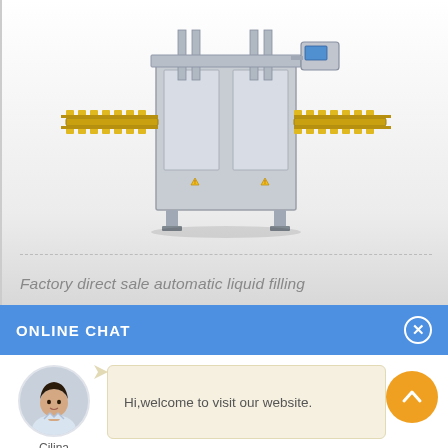[Figure (photo): Industrial automatic liquid filling machine with yellow conveyor belts and grey metal frame, on a light grey gradient background]
Factory direct sale automatic liquid filling
ONLINE CHAT
[Figure (photo): Avatar/portrait photo of a woman named Cilina in a white blouse]
Cilina
Hi,welcome to visit our website.